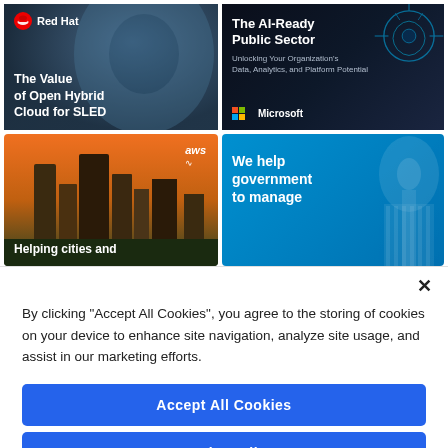[Figure (screenshot): Red Hat advertisement: 'The Value of Open Hybrid Cloud for SLED' with aerial dome/city photo and Red Hat logo]
[Figure (screenshot): Microsoft advertisement: 'The AI-Ready Public Sector - Unlocking Your Organization's Data, Analytics, and Platform Potential' with circuit brain graphic]
[Figure (screenshot): AWS advertisement: 'Helping cities and...' with city skyline photo and aws logo]
[Figure (screenshot): Government advertisement: 'We help government to manage' with US Capitol building photo on blue background]
By clicking “Accept All Cookies”, you agree to the storing of cookies on your device to enhance site navigation, analyze site usage, and assist in our marketing efforts.
Accept All Cookies
Reject All
Cookies Settings